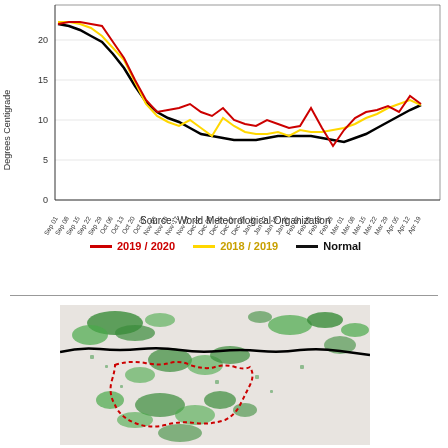[Figure (continuous-plot): Line chart showing temperature in Degrees Centigrade from Sep 01 to Apr 19 for three series: 2019/2020 (red), 2018/2019 (yellow), and Normal (black). Values start around 22°C in September, decline to a minimum around 7-8°C in February, then rise back to approximately 15°C by late April.]
Source: World Meteorological Organization
2019 / 2020   2018 / 2019   Normal
[Figure (map): Map showing a geographic region with green areas (vegetation/forest), a red dotted border outline, and a black boundary line. Light beige/grey background with scattered green patches indicating land cover.]